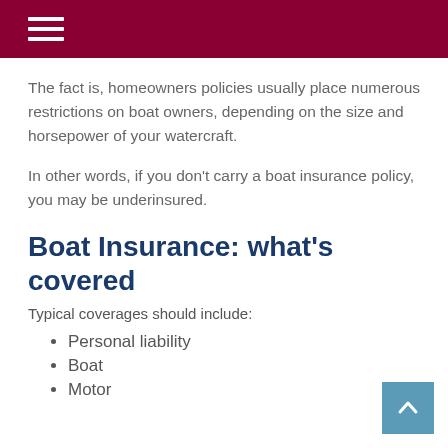The fact is, homeowners policies usually place numerous restrictions on boat owners, depending on the size and horsepower of your watercraft.
In other words, if you don't carry a boat insurance policy, you may be underinsured.
Boat Insurance: what's covered
Typical coverages should include:
Personal liability
Boat
Motor